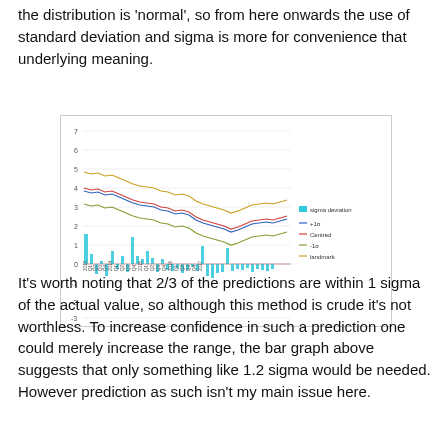the distribution is 'normal', so from here onwards the use of standard deviation and sigma is more for convenience that underlying meaning.
[Figure (continuous-plot): Combined bar and line chart showing sigma deviation bars and multiple line series (+1σ, Centred, -1σ, landmark) plotted over time. The lines show a general declining trend from around 5-6 down to 3-4, with bars showing deviations between about -2 and +1.5.]
It's worth noting that 2/3 of the predictions are within 1 sigma of the actual value, so although this method is crude it's not worthless. To increase confidence in such a prediction one could merely increase the range, the bar graph above suggests that only something like 1.2 sigma would be needed. However prediction as such isn't my main issue here.